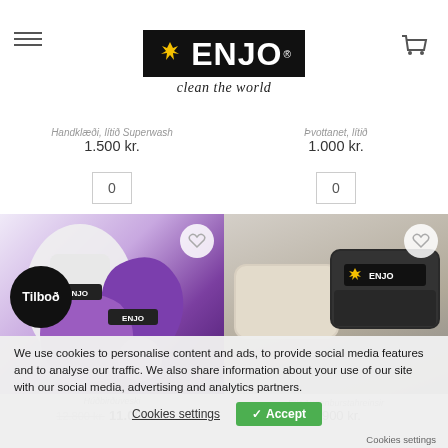[Figure (logo): ENJO 'clean the world' logo with yellow hand graphic on black background]
Handklæði, lítið Superwash
1.500 kr.
Þvottanet, lítið
1.000 kr.
0
0
[Figure (photo): ENJO purple cleaning gloves/mitts product set with Tilboð (offer) badge]
[Figure (photo): ENJO metal tin box with cleaning cloth, product for eyes/glasses]
Húðbirðuveski
12.800 kr. 11.000 kr.
Für Augenburstahreinsir
2.900 kr.
We use cookies to personalise content and ads, to provide social media features and to analyse our traffic. We also share information about your use of our site with our social media, advertising and analytics partners.
Cookies settings
✓ Accept
Cookies settings